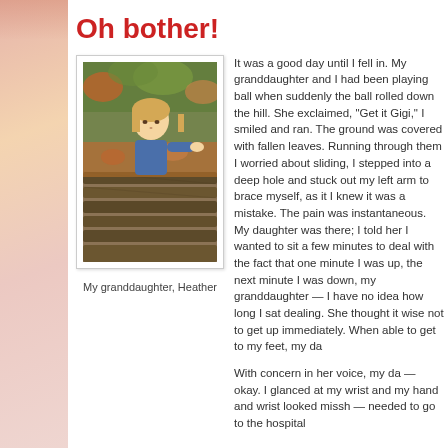Oh bother!
[Figure (photo): A young girl with blonde hair leaning over a weathered wooden fence or log pile, reaching out with one hand. Autumn foliage background.]
My granddaughter, Heather
It was a good day until I fell in. My granddaughter and I had been playing ball when suddenly the ball rolled down the hill. She exclaimed, "Get it Gigi," I smiled and ran. The ground was covered with fallen leaves. Running through them I worried about sliding, I stepped into a deep hole and stuck out my left arm to brace myself, as it I knew it was a mistake. The pain was instantaneous. My daughter was there; I told her I wanted to sit a few minutes to deal with the fact that one minute I was up, the next minute I was down, my granddaughter — I have no idea how long I sat dealing. She thought it wise not to get up immediately. When able to get to my feet, my da
With concern in her voice, my da — okay. I glanced at my wrist and my hand and wrist looked missh — needed to go to the hospital